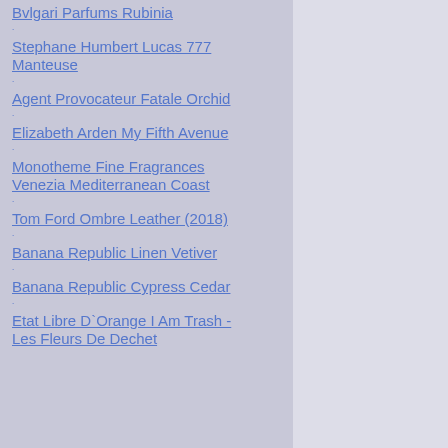Bvlgari Parfums Rubinia
Stephane Humbert Lucas 777 Manteuse
Agent Provocateur Fatale Orchid
Elizabeth Arden My Fifth Avenue
Monotheme Fine Fragrances Venezia Mediterranean Coast
Tom Ford Ombre Leather (2018)
Banana Republic Linen Vetiver
Banana Republic Cypress Cedar
Etat Libre D`Orange I Am Trash - Les Fleurs De Dechet